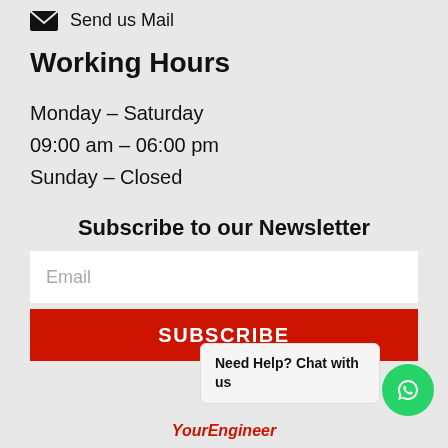Send us Mail
Working Hours
Monday – Saturday
09:00 am – 06:00 pm
Sunday – Closed
Subscribe to our Newsletter
Email
SUBSCRIBE
Need Help? Chat with us
YourEngineer